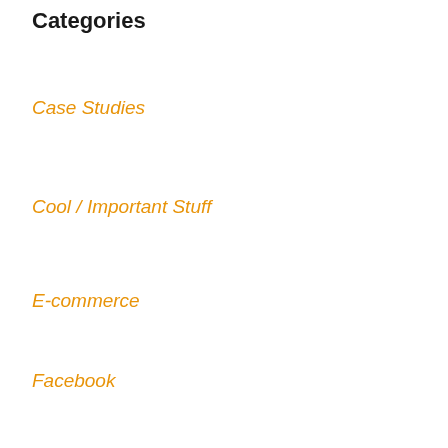Categories
Case Studies
Cool / Important Stuff
E-commerce
Facebook
Featured
Google Adwords
Home Page
Increase Traffic to Your Site
Internet Marketing